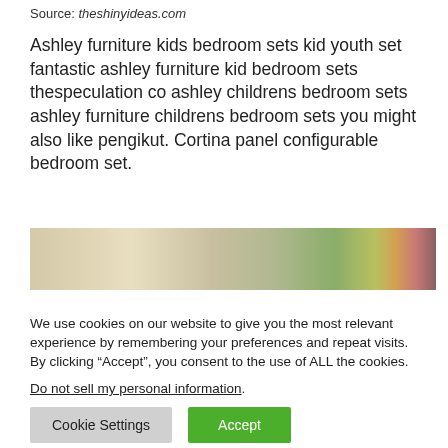Source: theshinyideas.com
Ashley furniture kids bedroom sets kid youth set fantastic ashley furniture kid bedroom sets thespeculation co ashley childrens bedroom sets ashley furniture childrens bedroom sets you might also like pengikut. Cortina panel configurable bedroom set.
[Figure (photo): Partial view of a kids bedroom furniture set showing wooden panels with green, yellow, and pink/red striped accents]
We use cookies on our website to give you the most relevant experience by remembering your preferences and repeat visits. By clicking “Accept”, you consent to the use of ALL the cookies. Do not sell my personal information.